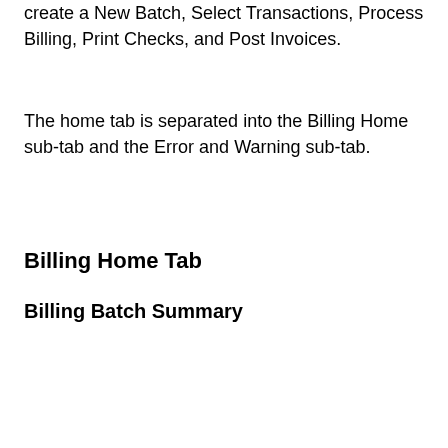create a New Batch, Select Transactions, Process Billing, Print Checks, and Post Invoices.
The home tab is separated into the Billing Home sub-tab and the Error and Warning sub-tab.
Billing Home Tab
Billing Batch Summary
[Figure (logo): TOP badge logo - circular black and white icon with the word TOP and a flame/droplet symbol]
The Billing Batch Summary section displays information about a specific batch.